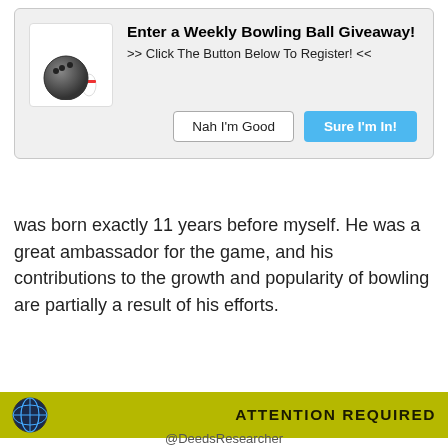[Figure (infographic): Popup modal with bowling ball and pins emoji icon, title 'Enter a Weekly Bowling Ball Giveaway!', subtitle '>> Click The Button Below To Register! <<', and two buttons: 'Nah I'm Good' (light) and 'Sure I'm In!' (blue)]
was born exactly 11 years before myself. He was a great ambassador for the game, and his contributions to the growth and popularity of bowling are partially a result of his efforts.
[Figure (infographic): Cookie consent attention bar with globe icon and 'ATTENTION REQUIRED' text on olive/yellow-green background, followed by white box with cookie notice text and Accept / Privacy Center buttons]
@DeedsResearcher